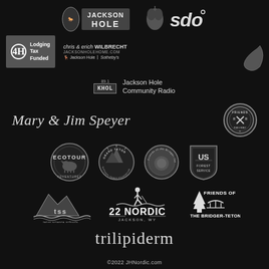[Figure (logo): Jackson Hole logo with bucking horse icon and 'JACKSON HOLE' text]
[Figure (logo): Hop graphic and 'sdo' brewery/organization logo]
[Figure (logo): 4H Lodging Tax Funded logo in grey box]
[Figure (logo): chris & erich WILBRECHT JACKSONHOLEHOME.COM with Jackson Hole Sotheby's branding]
[Figure (logo): KHOL 89.1 Jackson Hole Community Radio logo]
Mary & Jim Speyer
[Figure (logo): Friends Railway circular badge logo]
[Figure (logo): Ecotour Adventures circular badge logo]
[Figure (logo): Grand Teton National Parks Foundation circular badge]
[Figure (logo): Friends of the Bridger-Teton circular badge logo]
[Figure (logo): US Forest Service shield logo]
[Figure (logo): tss teton science schools mountain logo]
[Figure (logo): 22 Nordic Jackson WY logo with skier figure]
[Figure (logo): Friends of The Bridger-Teton logo with tree and bridge]
[Figure (logo): trilipiderm logo text]
©2022 JHNordic.com